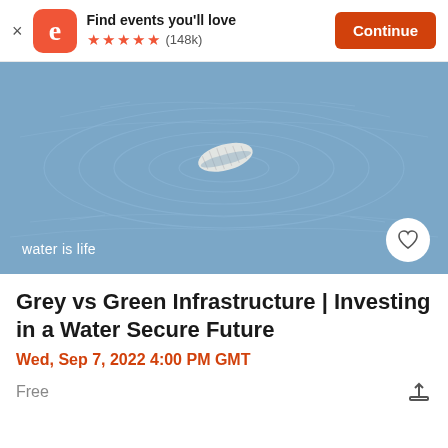Find events you'll love ★★★★★ (148k) Continue
[Figure (illustration): Blue illustration of a plastic bottle floating on water with ripple rings around it. Text 'water is life' in bottom left. Heart/favorite icon in a white circle at bottom right.]
Grey vs Green Infrastructure | Investing in a Water Secure Future
Wed, Sep 7, 2022 4:00 PM GMT
Free